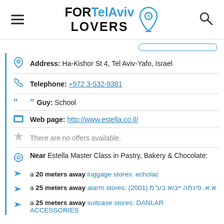FOR Tel Aviv LOVERS
Address: Ha-Kishor St 4, Tel Aviv-Yafo, Israel
Telephone: +972 3-532-9381
Guy: School
Web page: http://www.estella.co.il/
There are no offers available.
Near Estella Master Class in Pastry, Bakery & Chocolate:
a 20 meters away luggage stores: echolac
a 25 meters away alarm stores: (2001) א.א. סיגמה ייבוא בע"מ
a 25 meters away suitcase stores: DANLAR ACCESSORIES